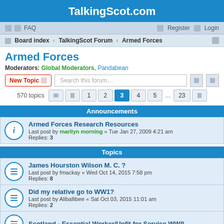TalkingScot.com
FAQ   Register   Login
Board index › TalkingScot Forum › Armed Forces
Armed Forces
Moderators: Global Moderators, Pandabean
New Topic   Search this forum…
570 topics   1 2 3 4 5 … 23
Announcements
Armed Forces Research Resources
Last post by marilyn morning « Tue Jan 27, 2009 4:21 am
Replies: 3
Topics
James Hourston Wilson M. C. ?
Last post by fmackay « Wed Oct 14, 2015 7:58 pm
Replies: 8
Did my relative go to WW1?
Last post by Aliballibee « Sat Oct 03, 2015 11:01 am
Replies: 2
Scotland - Essential Worker/Unfit for Service WWII